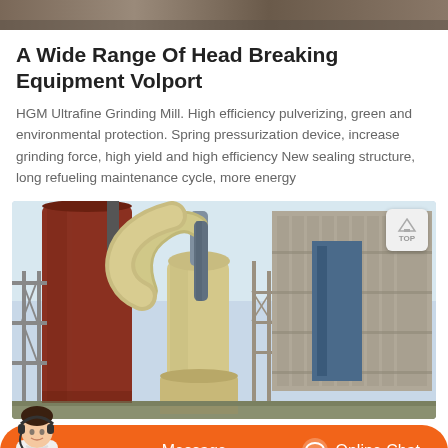[Figure (photo): Top cropped photo showing construction/mining site ground scene]
A Wide Range Of Head Breaking Equipment Volport
HGM Ultrafine Grinding Mill. High efficiency pulverizing, green and environmental protection. Spring pressurization device, increase grinding force, high yield and high efficiency New sealing structure, long refueling maintenance cycle, more energy
[Figure (photo): Industrial grinding mill equipment facility showing large red cylindrical tower, cream-colored grinding mill unit with yellow base, blue structures, and large industrial building in background]
Message    Online Chat